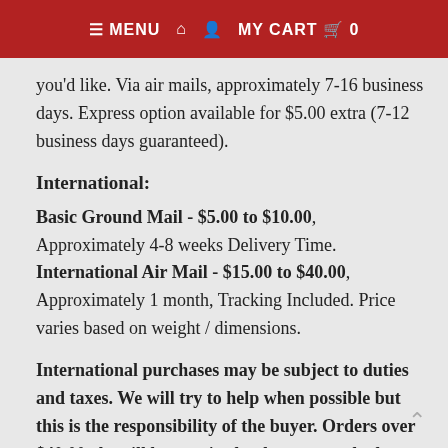≡ MENU  ⌂  ​👤  MY CART  🛒  0
you'd like. Via air mails, approximately 7-16 business days. Express option available for $5.00 extra (7-12 business days guaranteed).
International:
Basic Ground Mail - $5.00 to $10.00, Approximately 4-8 weeks Delivery Time.
International Air Mail - $15.00 to $40.00, Approximately 1 month, Tracking Included. Price varies based on weight / dimensions.
International purchases may be subject to duties and taxes. We will try to help when possible but this is the responsibility of the buyer. Orders over $40.00cdn will be required to be sent tracked.